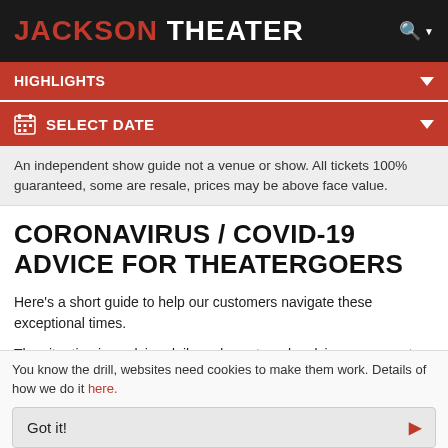JACKSON THEATER
HIGHLIGHTS
SELECT DATE
An independent show guide not a venue or show. All tickets 100% guaranteed, some are resale, prices may be above face value.
CORONAVIRUS / COVID-19 ADVICE FOR THEATERGOERS
Here's a short guide to help our customers navigate these exceptional times.
The situation is evolving daily and we strongly advise our users to make sure they make their own decisions and follow the advice of the
You know the drill, websites need cookies to make them work. Details of how we do it here.
Got it!